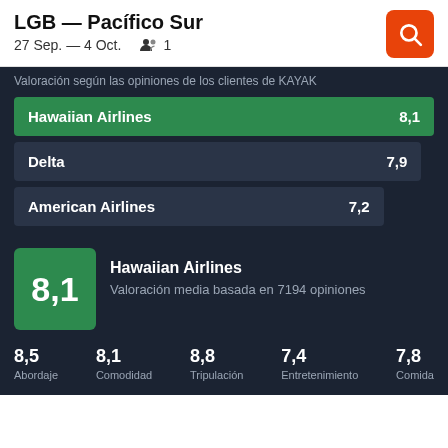LGB — Pacífico Sur
27 Sep. — 4 Oct.   👥 1
Valoración según las opiniones de los clientes de KAYAK
| Aerolínea | Puntuación |
| --- | --- |
| Hawaiian Airlines | 8,1 |
| Delta | 7,9 |
| American Airlines | 7,2 |
8,1  Hawaiian Airlines  Valoración media basada en 7194 opiniones
8,5 Abordaje   8,1 Comodidad   8,8 Tripulación   7,4 Entretenimiento   7,8 Comida